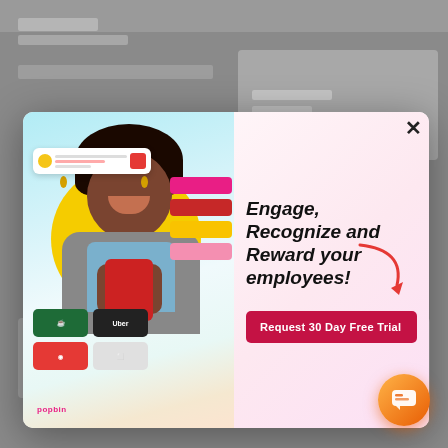[Figure (screenshot): Background of a dimmed/blurred web page behind a modal popup dialog]
[Figure (infographic): Modal popup advertisement for an employee engagement platform. Left side shows a woman smiling at a phone against a colorful background with app UI elements, Starbucks and Uber gift card badges, and 'popbin' branding. Right side has bold italic text 'Engage, Recognize and Reward your employees!' with a curved arrow and a red 'Request 30 Day Free Trial' button. Top right has a close X button.]
Engage, Recognize and Reward your employees!
Request 30 Day Free Trial
[Figure (logo): popbin logo in pink at bottom left of modal left panel]